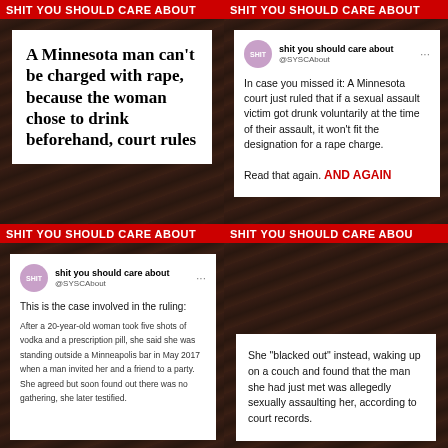[Figure (screenshot): Top-left quadrant: dark textured background with red banner reading 'SHIT YOU SHOULD CARE ABOUT' and a white box containing bold headline text about a Minnesota court ruling.]
[Figure (screenshot): Top-right quadrant: dark textured background with red banner and a tweet from @SYSCAbout explaining the Minnesota court ruling, ending with 'Read that again. AND AGAIN' in bold red.]
[Figure (screenshot): Bottom-left quadrant: dark textured background with red banner and a tweet from @SYSCAbout describing the case: a 20-year-old woman who took five shots of vodka and a prescription pill.]
[Figure (screenshot): Bottom-right quadrant: dark textured background with red banner and a white box describing that the woman blacked out, waking up on a couch being sexually assaulted, according to court records.]